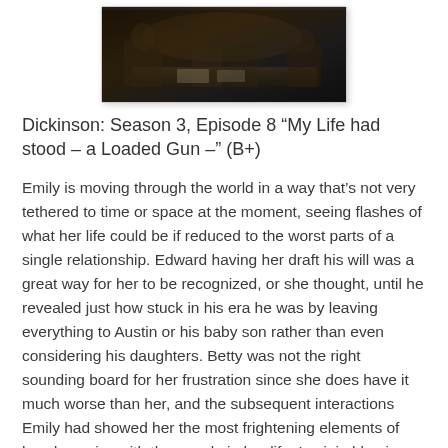[Figure (photo): Dark cinematic scene showing people seated at a table in a dimly lit setting, likely a still from the TV show Dickinson.]
Dickinson: Season 3, Episode 8 “My Life had stood – a Loaded Gun –” (B+)
Emily is moving through the world in a way that’s not very tethered to time or space at the moment, seeing flashes of what her life could be if reduced to the worst parts of a single relationship. Edward having her draft his will was a great way for her to be recognized, or she thought, until he revealed just how stuck in his era he was by leaving everything to Austin or his baby son rather than even considering his daughters. Betty was not the right sounding board for her frustration since she does have it much worse than her, and the subsequent interactions Emily had showed her the most frightening elements of her dynamics with the people in her life. Lavinia blaming her for not getting married as she tended to her many husbands was a stark idea, as was Austin resenting her for breaking up his marriage, which wasn’t as far from the truth. Sue becoming more distant